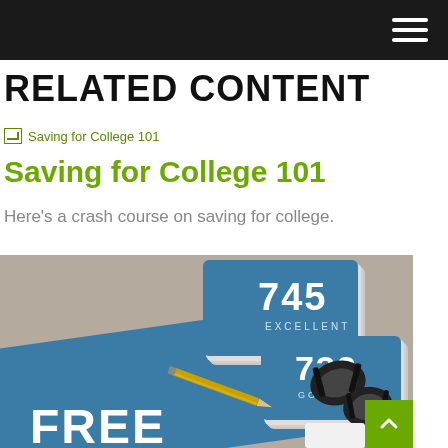Navigation menu (hamburger icon)
RELATED CONTENT
[Figure (other): Broken image placeholder for 'Saving for College 101']
Saving for College 101
Here's a crash course on saving for college.
[Figure (photo): Photo showing credit score cards with numbers 745 (EXCELLENT) and 732 (GOOD), a pencil, binder clips, and a blue folder/book with text 'FREE CREDIT' partially visible]